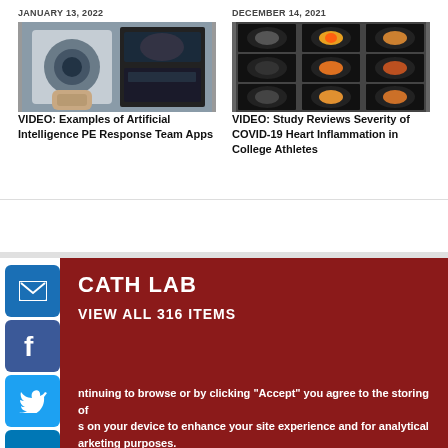JANUARY 13, 2022
[Figure (photo): Person holding phone showing echocardiogram/ultrasound image]
VIDEO: Examples of Artificial Intelligence PE Response Team Apps
DECEMBER 14, 2021
[Figure (photo): Grid of cardiac MRI/CT scan images with colorized highlights]
VIDEO: Study Reviews Severity of COVID-19 Heart Inflammation in College Athletes
CATH LAB
VIEW ALL 316 ITEMS
ntinuing to browse or by clicking "Accept" you agree to the storing of s on your device to enhance your site experience and for analytical arketing purposes.
n more about how we use cookies, please see our cookie policy.
agree | No, thanks